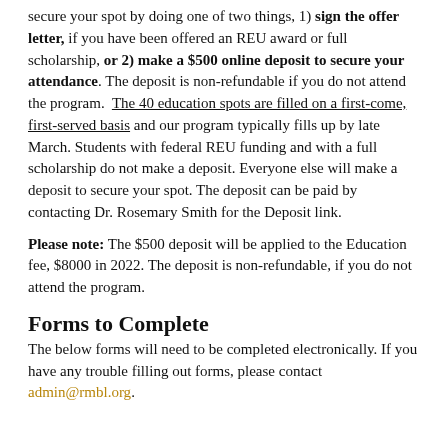secure your spot by doing one of two things, 1) sign the offer letter, if you have been offered an REU award or full scholarship, or 2) make a $500 online deposit to secure your attendance. The deposit is non-refundable if you do not attend the program. The 40 education spots are filled on a first-come, first-served basis and our program typically fills up by late March. Students with federal REU funding and with a full scholarship do not make a deposit. Everyone else will make a deposit to secure your spot. The deposit can be paid by contacting Dr. Rosemary Smith for the Deposit link.
Please note: The $500 deposit will be applied to the Education fee, $8000 in 2022. The deposit is non-refundable, if you do not attend the program.
Forms to Complete
The below forms will need to be completed electronically. If you have any trouble filling out forms, please contact admin@rmbl.org.